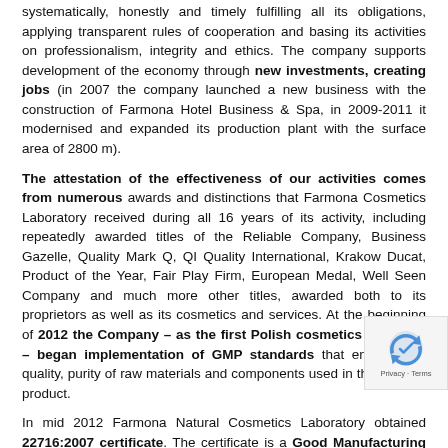systematically, honestly and timely fulfilling all its obligations, applying transparent rules of cooperation and basing its activities on professionalism, integrity and ethics. The company supports development of the economy through new investments, creating jobs (in 2007 the company launched a new business with the construction of Farmona Hotel Business & Spa, in 2009-2011 it modernised and expanded its production plant with the surface area of 2800 m).
The attestation of the effectiveness of our activities comes from numerous awards and distinctions that Farmona Cosmetics Laboratory received during all 16 years of its activity, including repeatedly awarded titles of the Reliable Company, Business Gazelle, Quality Mark Q, QI Quality International, Krakow Ducat, Product of the Year, Fair Play Firm, European Medal, Well Seen Company and much more other titles, awarded both to its proprietors as well as its cosmetics and services. At the beginning of 2012 the Company – as the first Polish cosmetics company – began implementation of GMP standards that ensure high quality, purity of raw materials and components used in the finished product.
In mid 2012 Farmona Natural Cosmetics Laboratory obtained 22716:2007 certificate. The certificate is a Good Manufacturing Practices (GMP) standard in manufacture of cosmetics. It guidelines on production, inspection, storage and transpo cosmetics products as well as storage of finished produ specifies detailed requirements for staff. It ensures that the final